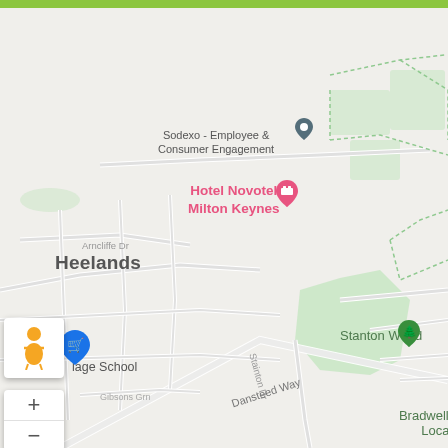[Figure (map): Google Maps screenshot showing the area around Heelands and Conniburrow in Milton Keynes, UK. Visible landmarks include Hotel Novotel Milton Keynes, Stanton Wood, Bradwell Common Local Park, Conniburrow Community Centre, and Sodexo Employee & Consumer Engagement office. Roads visible include Saxon St, Dansteed Way, Stainton Dr, Arncliffe Dr, and Gibsons Grn. A street view person icon and zoom controls are shown on the left side. A green bar appears at the top of the screen.]